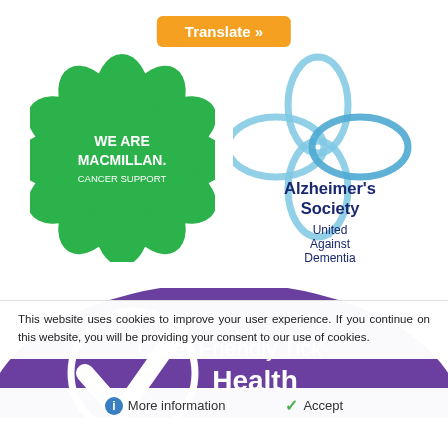[Figure (logo): Orange Translate button at top center]
[Figure (logo): Macmillan Cancer Support green flower logo with text WE ARE MACMILLAN. CANCER SUPPORT]
[Figure (logo): Alzheimer's Society logo with blue flower shape and text Alzheimer's Society United Against Dementia]
[Figure (logo): Carer Friendly Tick Health badge in purple with white tick]
This website uses cookies to improve your user experience. If you continue on this website, you will be providing your consent to our use of cookies.
More information   Accept